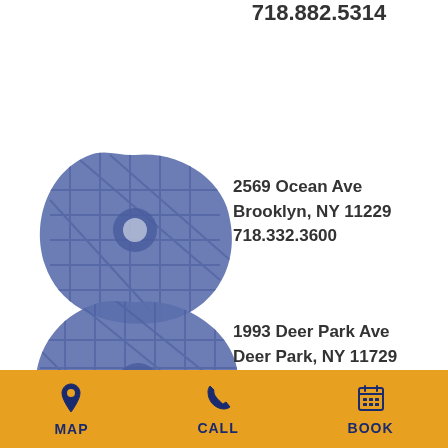718.882.5314
[Figure (map): Blue blob-shaped map icon for Bronx location]
2569 Ocean Ave
Brooklyn, NY 11229
718.332.3600
[Figure (map): Blue blob-shaped map icon for Brooklyn location]
1993 Deer Park Ave
Deer Park, NY 11729
631.242.8172
MAP   CALL   BOOK